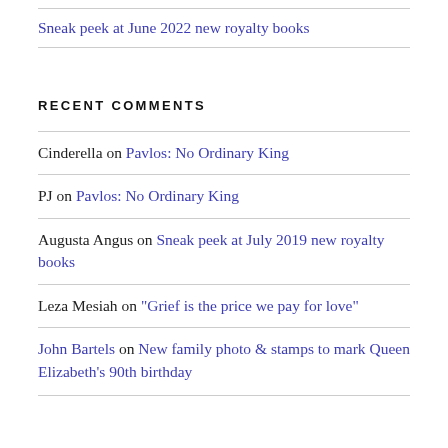Sneak peek at June 2022 new royalty books
RECENT COMMENTS
Cinderella on Pavlos: No Ordinary King
PJ on Pavlos: No Ordinary King
Augusta Angus on Sneak peek at July 2019 new royalty books
Leza Mesiah on "Grief is the price we pay for love"
John Bartels on New family photo & stamps to mark Queen Elizabeth's 90th birthday